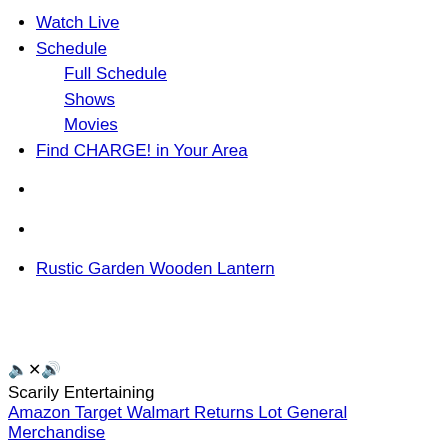Watch Live
Schedule
Full Schedule
Shows
Movies
Find CHARGE! in Your Area
Rustic Garden Wooden Lantern
🔇 Scarily Entertaining
Amazon Target Walmart Returns Lot General Merchandise